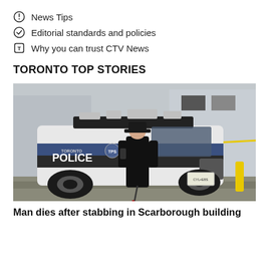News Tips
Editorial standards and policies
Why you can trust CTV News
TORONTO TOP STORIES
[Figure (photo): A Toronto Police officer in black uniform standing in front of a Toronto Police SUV in a parking lot. Yellow police tape is visible in the background.]
Man dies after stabbing in Scarborough building